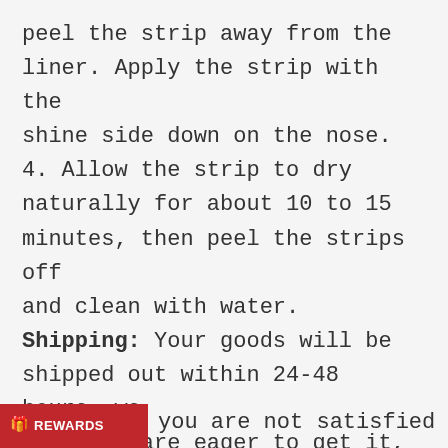peel the strip away from the liner. Apply the strip with the shine side down on the nose. 4. Allow the strip to dry naturally for about 10 to 15 minutes, then peel the strips off and clean with water. Shipping: Your goods will be shipped out within 24-48 hours, we know you are eager to get it, 7-10 working days to arrive, click shipment for details. Return: If there were any reason you are not satisfied with
REWARDS